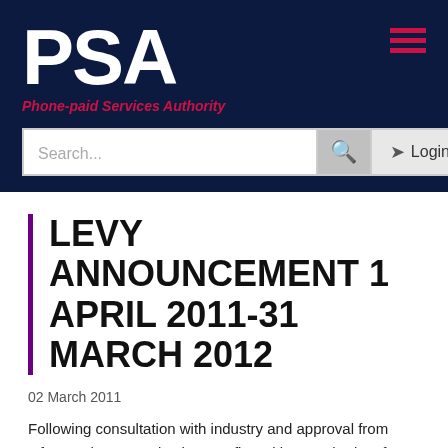PSA - Phone-paid Services Authority
LEVY ANNOUNCEMENT 1 APRIL 2011-31 MARCH 2012
02 March 2011
Following consultation with industry and approval from Ofcom, PhonepayPlus has confirmed its core budget for 2011/12 will reduce by 13.2% in real terms on a like-for-like basis.
As a result, PhonepayPlus has announced that its adjusted levy for 2011/12 will be 0.35%. This adjusted levy applies to all